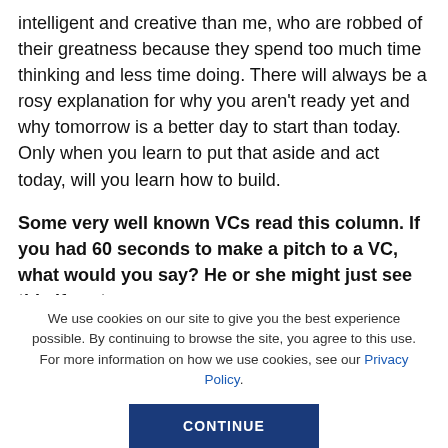intelligent and creative than me, who are robbed of their greatness because they spend too much time thinking and less time doing. There will always be a rosy explanation for why you aren't ready yet and why tomorrow is a better day to start than today. Only when you learn to put that aside and act today, will you learn how to build.
Some very well known VCs read this column. If you had 60 seconds to make a pitch to a VC, what would you say? He or she might just see this if we tag
We use cookies on our site to give you the best experience possible. By continuing to browse the site, you agree to this use. For more information on how we use cookies, see our Privacy Policy.
CONTINUE